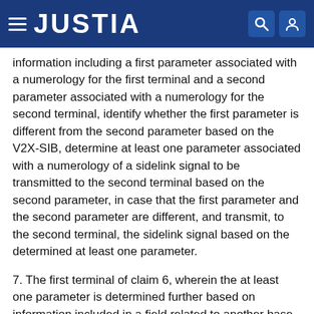JUSTIA
information including a first parameter associated with a numerology for the first terminal and a second parameter associated with a numerology for the second terminal, identify whether the first parameter is different from the second parameter based on the V2X-SIB, determine at least one parameter associated with a numerology of a sidelink signal to be transmitted to the second terminal based on the second parameter, in case that the first parameter and the second parameter are different, and transmit, to the second terminal, the sidelink signal based on the determined at least one parameter.
7. The first terminal of claim 6, wherein the at least one parameter is determined further based on information included in a field related to another base station